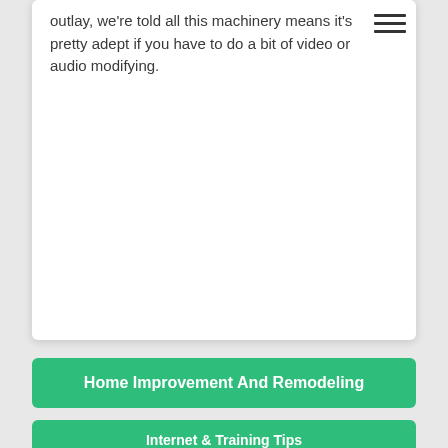outlay, we're told all this machinery means it's pretty adept if you have to do a bit of video or audio modifying.
Home Improvement And Remodeling
Internet & Training Tips